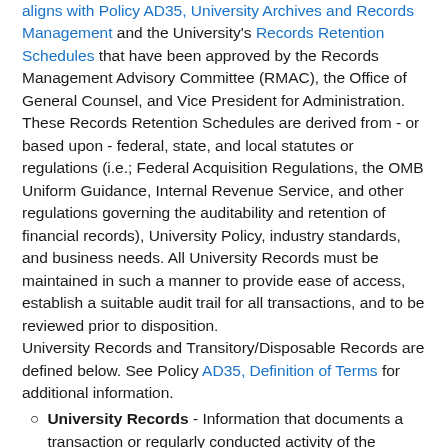aligns with Policy AD35, University Archives and Records Management and the University's Records Retention Schedules that have been approved by the Records Management Advisory Committee (RMAC), the Office of General Counsel, and Vice President for Administration. These Records Retention Schedules are derived from - or based upon - federal, state, and local statutes or regulations (i.e.; Federal Acquisition Regulations, the OMB Uniform Guidance, Internal Revenue Service, and other regulations governing the auditability and retention of financial records), University Policy, industry standards, and business needs. All University Records must be maintained in such a manner to provide ease of access, establish a suitable audit trail for all transactions, and to be reviewed prior to disposition.
University Records and Transitory/Disposable Records are defined below. See Policy AD35, Definition of Terms for additional information.
University Records - Information that documents a transaction or regularly conducted activity of the